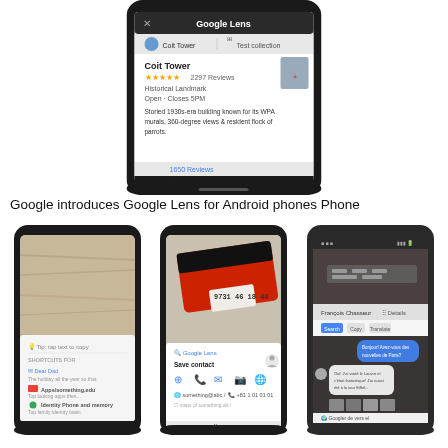[Figure (screenshot): A smartphone displaying Google Lens interface showing Coit Tower landmark with 4.4 stars, 2297 reviews, Historical Landmark, Open - Closes 5PM, and description text about WPA murals and parrots.]
Google introduces Google Lens for Android phones Phone
[Figure (screenshot): Smartphone showing Google Lens tips and shortcuts menu on a wooden surface background.]
[Figure (screenshot): Smartphone showing Google Lens scanning a red credit/debit card with contact save option.]
[Figure (screenshot): Smartphone showing Google Lens used in a messaging/chat interface with translate function.]